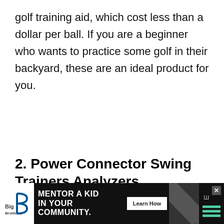golf training aid, which cost less than a dollar per ball. If you are a beginner who wants to practice some golf in their backyard, these are an ideal product for you.
2. Power Connector Swing Trainers Analyzers
This power connector is probably one of the best golf training aids for golf beginners, and
[Figure (other): Advertisement banner for Big Brothers Big Sisters: 'MENTOR A KID IN YOUR COMMUNITY.' with a Learn How button, diagonal stripe pattern, and weather icons.]